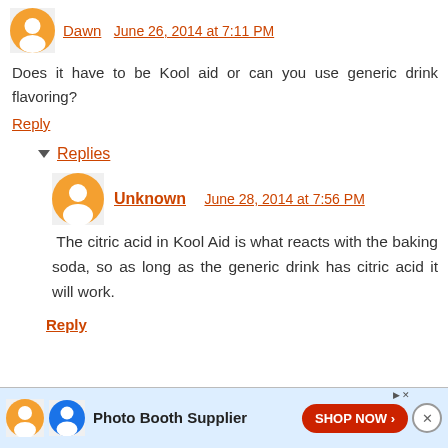Dawn June 26, 2014 at 7:11 PM
Does it have to be Kool aid or can you use generic drink flavoring?
Reply
Replies
Unknown June 28, 2014 at 7:56 PM
The citric acid in Kool Aid is what reacts with the baking soda, so as long as the generic drink has citric acid it will work.
Reply
Photo Booth Supplier SHOP NOW >